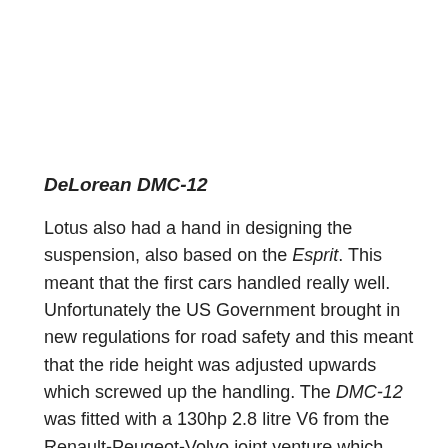DeLorean DMC-12
Lotus also had a hand in designing the suspension, also based on the Esprit. This meant that the first cars handled really well. Unfortunately the US Government brought in new regulations for road safety and this meant that the ride height was adjusted upwards which screwed up the handling. The DMC-12 was fitted with a 130hp 2.8 litre V6 from the Renault-Peugeot-Volvo joint venture which was different from the original design – the team wanted a Citroen Wankel engine with about 200hp developed jointly with NSU. The engine proved to be too thirsty for the intended market and they swapped